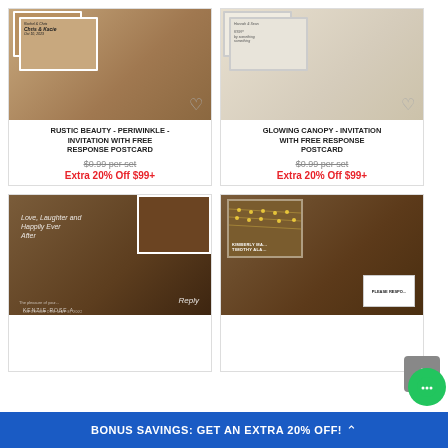[Figure (photo): Rustic Beauty Periwinkle wedding invitation with free response postcard product image showing stacked cards on wood background]
RUSTIC BEAUTY - PERIWINKLE - INVITATION WITH FREE RESPONSE POSTCARD
$0.99 per set
Extra 20% Off $99+
[Figure (photo): Glowing Canopy wedding invitation with free response postcard product image showing stacked cards]
GLOWING CANOPY - INVITATION WITH FREE RESPONSE POSTCARD
$0.99 per set
Extra 20% Off $99+
[Figure (photo): Love Laughter and Happily Ever After wedding invitation with reply card on dark wood background]
[Figure (photo): Wedding invitation with string lights on wood background with please respond card]
BONUS SAVINGS: GET AN EXTRA 20% OFF!